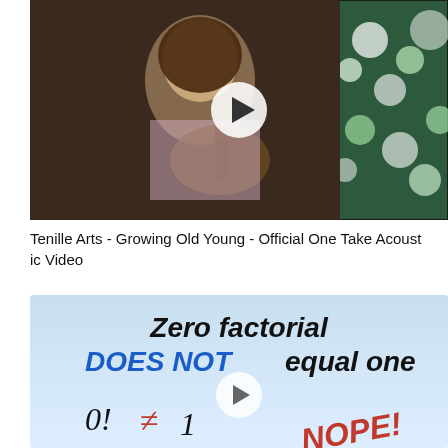[Figure (screenshot): Video thumbnail of Tenille Arts playing guitar with stained glass windows in background, with play button overlay]
Tenille Arts - Growing Old Young - Official One Take Acoustic Video
[Figure (screenshot): Thumbnail image with text 'Zero factorial DOES NOT equal one' and math expression 0! ≠ 1 with 'NOPE!' in red, on light blue gradient background with play button]